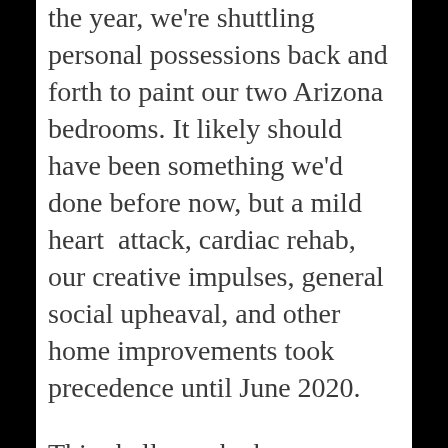the year, we're shuttling personal possessions back and forth to paint our two Arizona bedrooms. It likely should have been something we'd done before now, but a mild heart attack, cardiac rehab, our creative impulses, general social upheaval, and other home improvements took precedence until June 2020.
This shall now be known as Day One of the Cucuzza Verde and Sprout Sherwin-Williams-color-branded era of our bedroom lives. The former and deeper green covers the masonry bricks running north and south through our condo. The latter and lighter complements with a